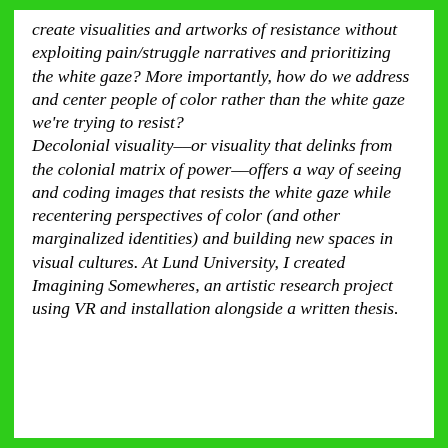create visualities and artworks of resistance without exploiting pain/struggle narratives and prioritizing the white gaze? More importantly, how do we address and center people of color rather than the white gaze we're trying to resist? Decolonial visuality––or visuality that delinks from the colonial matrix of power––offers a way of seeing and coding images that resists the white gaze while recentering perspectives of color (and other marginalized identities) and building new spaces in visual cultures. At Lund University, I created Imagining Somewheres, an artistic research project using VR and installation alongside a written thesis.